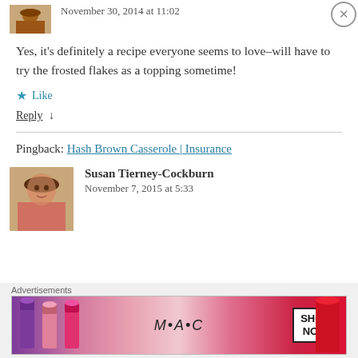November 30, 2014 at 11:02
Yes, it's definitely a recipe everyone seems to love–will have to try the frosted flakes as a topping sometime!
★ Like
Reply ↓
Pingback: Hash Brown Casserole | Insurance
Susan Tierney-Cockburn
November 7, 2015 at 5:33
[Figure (photo): Small cupcake avatar image, top left]
[Figure (photo): Woman's portrait photo (Susan Tierney-Cockburn avatar)]
[Figure (other): MAC cosmetics advertisement banner showing lipsticks with SHOP NOW box]